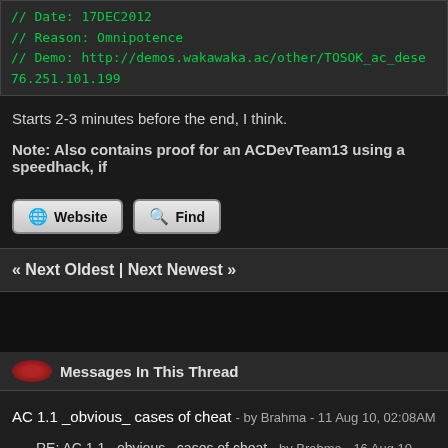// Date: 17DEC2012
// Reason: Omnipotence
// Demo: http://demos.wakawaka.ac/other/TOSOK_ac_dese
76.251.101.199
Starts 2-3 minutes before the end, I think.
Note: Also contains proof for an ACDevTeam13 using a speedhack, if
Website | Find
« Next Oldest | Next Newest »
Messages In This Thread
AC 1.1 _obvious_ cases of cheat - by Brahma - 11 Aug 10, 02:08AM
RE: AC 1.1 _obvious_ cases of cheat - by Brahma - 16 Aug 10, 03:18AM
RE: AC 1.1 _obvious_ cases of cheat - by samsattF - 16 Aug 10, 04:18AM
RE: AC 1.1 _obvious_ cases of cheat - by Brett - 04 Sep 10, 04:57PM
RE: AC 1.1 _obvious_ cases of cheat - by NUCKChorris - 17 Sep 10, 04:00PM
RE: AC 1.1 _obvious_ cases of cheat - by Medusa - 17 Sep 10, 04:45PM